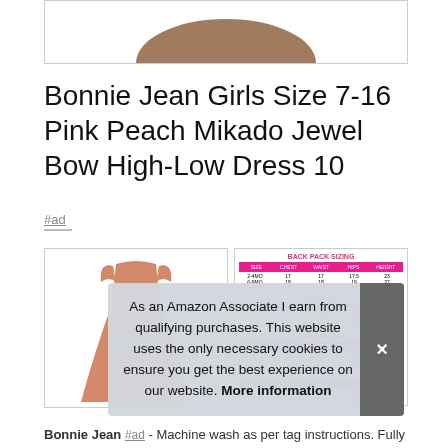[Figure (photo): Top portion of a brown/chocolate colored fabric or item, cropped at bottom of image box]
Bonnie Jean Girls Size 7-16 Pink Peach Mikado Jewel Bow High-Low Dress 10
#ad
[Figure (photo): Pink peach girl's dress with bow, cap sleeves, full skirt]
[Figure (table-as-image): Size chart with pink headers showing measurements for different sizes]
As an Amazon Associate I earn from qualifying purchases. This website uses the only necessary cookies to ensure you get the best experience on our website. More information
Bonnie Jean #ad - Machine wash as per tag instructions. Fully